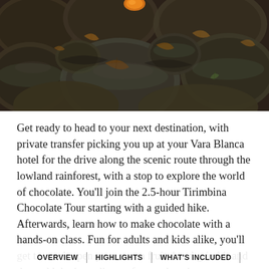[Figure (photo): Close-up photograph of dark, moss-covered rounded stones and rocks on the ground with dry brown leaves scattered between them, and a small orange object visible at the top.]
Get ready to head to your next destination, with private transfer picking you up at your Vara Blanca hotel for the drive along the scenic route through the lowland rainforest, with a stop to explore the world of chocolate. You'll join the 2.5-hour Tirimbina Chocolate Tour starting with a guided hike. Afterwards, learn how to make chocolate with a hands-on class. Fun for adults and kids alike, you'll get to crack open your cocoa fruit, hand grind it and then add the ingredients of your choosing. Afterwards, continue to your accommodation in Arena, with the.
OVERVIEW | HIGHLIGHTS | WHAT'S INCLUDED |